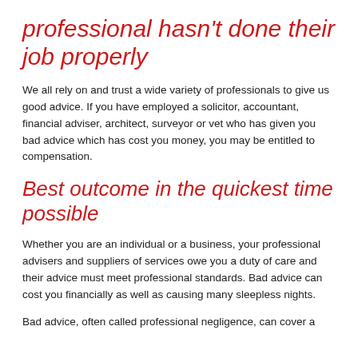professional hasn't done their job properly
We all rely on and trust a wide variety of professionals to give us good advice. If you have employed a solicitor, accountant, financial adviser, architect, surveyor or vet who has given you bad advice which has cost you money, you may be entitled to compensation.
Best outcome in the quickest time possible
Whether you are an individual or a business, your professional advisers and suppliers of services owe you a duty of care and their advice must meet professional standards. Bad advice can cost you financially as well as causing many sleepless nights.
Bad advice, often called professional negligence, can cover a